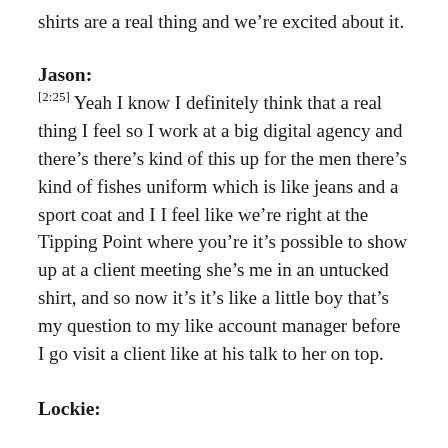shirts are a real thing and we're excited about it.
Jason:
[2:25] Yeah I know I definitely think that a real thing I feel so I work at a big digital agency and there's there's kind of this up for the men there's kind of fishes uniform which is like jeans and a sport coat and I I feel like we're right at the Tipping Point where you're it's possible to show up at a client meeting she's me in an untucked shirt, and so now it's it's like a little boy that's my question to my like account manager before I go visit a client like at his talk to her on top.
Lockie: